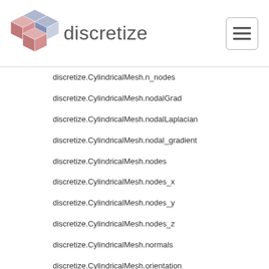discretize
discretize.CylindricalMesh.n_nodes
discretize.CylindricalMesh.nodalGrad
discretize.CylindricalMesh.nodalLaplacian
discretize.CylindricalMesh.nodal_gradient
discretize.CylindricalMesh.nodes
discretize.CylindricalMesh.nodes_x
discretize.CylindricalMesh.nodes_y
discretize.CylindricalMesh.nodes_z
discretize.CylindricalMesh.normals
discretize.CylindricalMesh.orientation
discretize.CylindricalMesh.origin
discretize.CylindricalMesh.project_edge_to_boundary_edge
discretize.CylindricalMesh.project_face_to_boundary_face